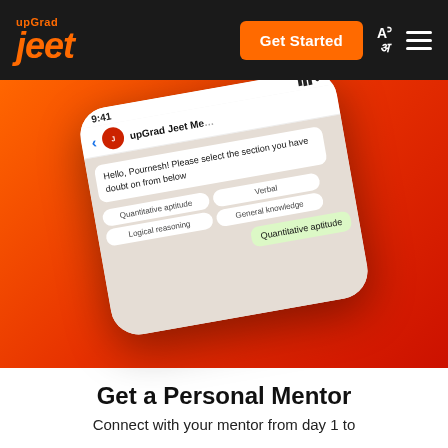upGrad Jeet — Get Started navigation bar
[Figure (screenshot): WhatsApp-style chat interface on a smartphone showing upGrad Jeet Mentor chat. Message reads: Hello, Pournesh! Please select the section you have doubt on from below. Option buttons: Quantitative aptitude, Verbal, Logical reasoning, General knowledge. User reply bubble: Quantitative aptitude.]
Get a Personal Mentor
Connect with your mentor from day 1 to